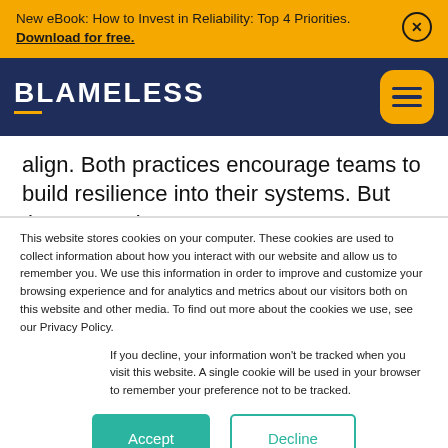New eBook: How to Invest in Reliability: Top 4 Priorities. Download for free.
[Figure (logo): Blameless logo in white text on dark navy background with yellow underline, hamburger menu button on right]
align. Both practices encourage teams to build resilience into their systems. But the connections don't stop there. Many SRE practices integrate with
This website stores cookies on your computer. These cookies are used to collect information about how you interact with our website and allow us to remember you. We use this information in order to improve and customize your browsing experience and for analytics and metrics about our visitors both on this website and other media. To find out more about the cookies we use, see our Privacy Policy.
If you decline, your information won't be tracked when you visit this website. A single cookie will be used in your browser to remember your preference not to be tracked.